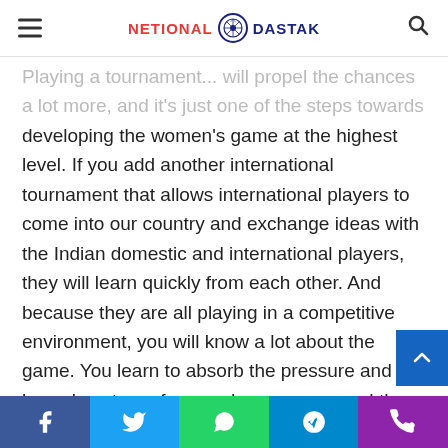NETIONAL DASTAK
help change the landscape... Playing a tournament... will propel the chances a lot more, and it's just one of the steps towards developing the women's game at the highest level. If you add another international tournament that allows international players to come into our country and exchange ideas with the Indian domestic and international players, they will learn quickly from each other. And because they are all playing in a competitive environment, you will know a lot about the game. You learn to absorb the pressure and know how to perform under pressure, and there are various other things to grasp. All this will go into the development of women's cricket.

But if one suggests that Women's IPL will change the course of women's cricket, then no, it won't. Women's IPL will not b
Facebook | Twitter | WhatsApp | Telegram | Phone